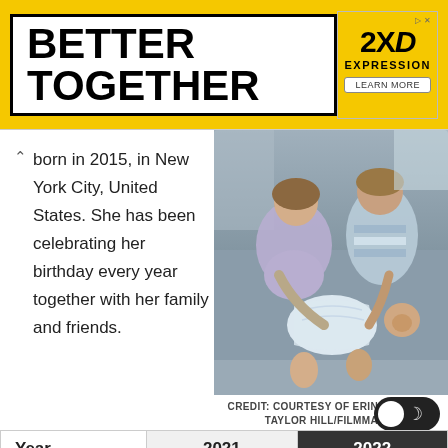[Figure (other): Yellow banner advertisement reading BETTER TOGETHER with a 2XD EXPRESSION ad on the right]
born in 2015, in New York City, United States. She has been celebrating her birthday every year together with her family and friends.
[Figure (photo): Photo of two children and a newborn baby sitting on a grey couch. A girl in a blue dress and a boy in a striped shirt are holding the swaddled infant.]
CREDIT: COURTESY OF ERIN BURNETT; TAYLOR HILL/FILMMAGIC
| Year | 2021 | 2022 |
| --- | --- | --- |